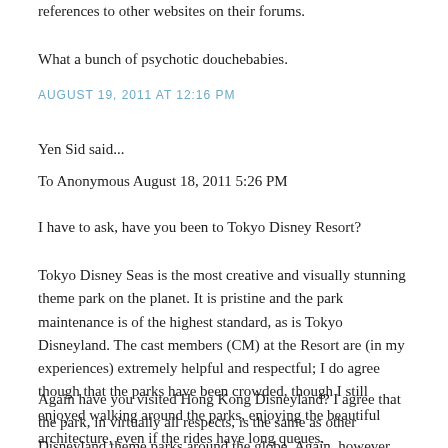references to other websites on their forums.
What a bunch of psychotic douchebabies.
AUGUST 19, 2011 AT 12:16 PM
Yen Sid said...
To Anonymous August 18, 2011 5:26 PM
I have to ask, have you been to Tokyo Disney Resort?
Tokyo Disney Seas is the most creative and visually stunning theme park on the planet. It is pristine and the park maintenance is of the highest standard, as is Tokyo Disneyland. The cast members (CM) at the Resort are (in my experiences) extremely helpful and respectful; I do agree though that the parks have been crowded, though I still enjoyed walking around the parks, enjoying the beautiful architecture, even if the rides have long queues.
Again have you visited Hong Kong Disneyland? I agree that the park, in virtually all respects, is the same as other Disneyland theme parks around the globe. Again, however, the park maintenance and cast